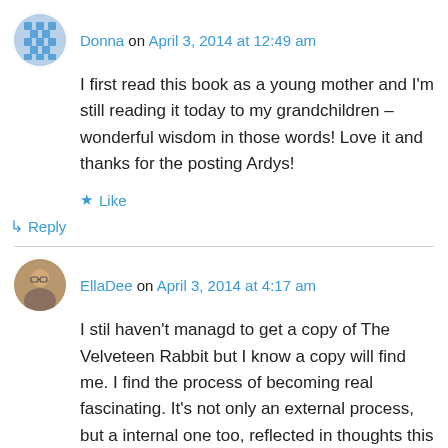Donna on April 3, 2014 at 12:49 am
I first read this book as a young mother and I'm still reading it today to my grandchildren – wonderful wisdom in those words! Love it and thanks for the posting Ardys!
Like
Reply
EllaDee on April 3, 2014 at 4:17 am
I stil haven't managd to get a copy of The Velveteen Rabbit but I know a copy will find me. I find the process of becoming real fascinating. It's not only an external process, but a internal one too, reflected in thoughts this morning as I made